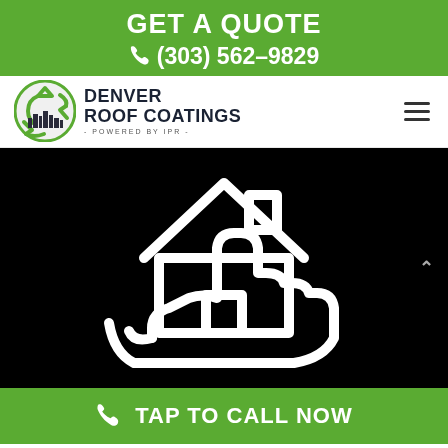GET A QUOTE
(303) 562-9829
[Figure (logo): Denver Roof Coatings logo with green recycling circle icon and city skyline, text: DENVER ROOF COATINGS - POWERED BY IPR -]
[Figure (illustration): White outline illustration of a hand holding a house with a roof, on black background]
TAP TO CALL NOW